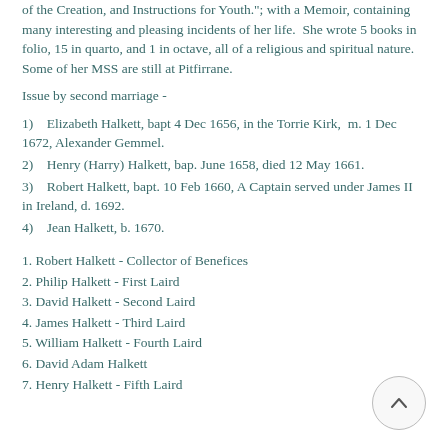of the Creation, and Instructions for Youth."; with a Memoir, containing many interesting and pleasing incidents of her life.  She wrote 5 books in folio, 15 in quarto, and 1 in octave, all of a religious and spiritual nature.  Some of her MSS are still at Pitfirrane.
Issue by second marriage -
1)    Elizabeth Halkett, bapt 4 Dec 1656, in the Torrie Kirk,  m. 1 Dec 1672, Alexander Gemmel.
2)    Henry (Harry) Halkett, bap. June 1658, died 12 May 1661.
3)    Robert Halkett, bapt. 10 Feb 1660, A Captain served under James II in Ireland, d. 1692.
4)    Jean Halkett, b. 1670.
1. Robert Halkett - Collector of Benefices
2. Philip Halkett - First Laird
3. David Halkett - Second Laird
4. James Halkett - Third Laird
5. William Halkett - Fourth Laird
6. David Adam Halkett
7. Henry Halkett - Fifth Laird